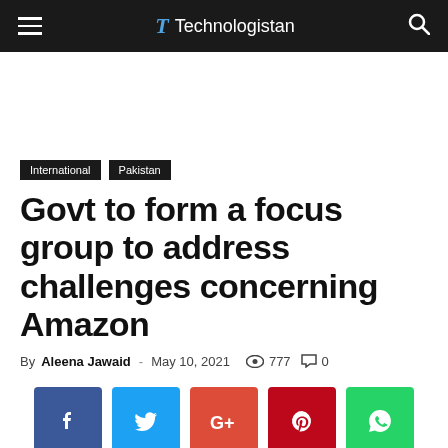Technologistan
Govt to form a focus group to address challenges concerning Amazon
By Aleena Jawaid - May 10, 2021  777  0
[Figure (other): Social sharing buttons: Facebook, Twitter, Google+, Pinterest, WhatsApp]